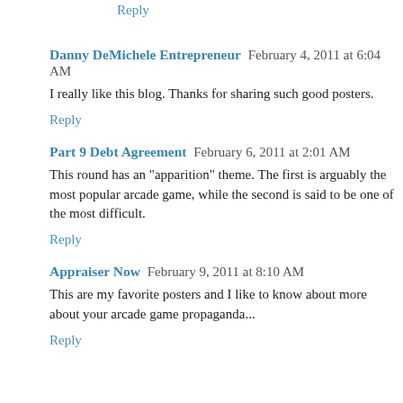Reply
Danny DeMichele Entrepreneur  February 4, 2011 at 6:04 AM
I really like this blog. Thanks for sharing such good posters.
Reply
Part 9 Debt Agreement  February 6, 2011 at 2:01 AM
This round has an "apparition" theme. The first is arguably the most popular arcade game, while the second is said to be one of the most difficult.
Reply
Appraiser Now  February 9, 2011 at 8:10 AM
This are my favorite posters and I like to know about more about your arcade game propaganda...
Reply